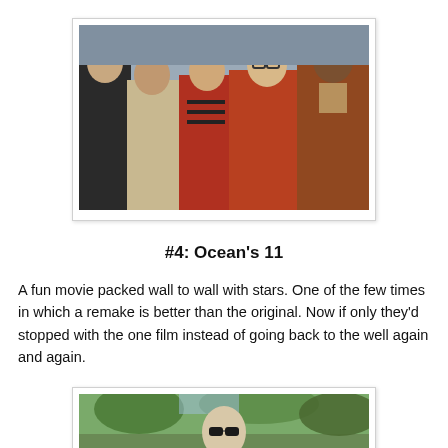[Figure (photo): Group photo of five men from the movie Ocean's 11, dressed in stylish retro-era clothing, posing together indoors.]
#4: Ocean's 11
A fun movie packed wall to wall with stars. One of the few times in which a remake is better than the original. Now if only they'd stopped with the one film instead of going back to the well again and again.
[Figure (photo): A man wearing sunglasses outdoors, partially visible, with trees in the background.]